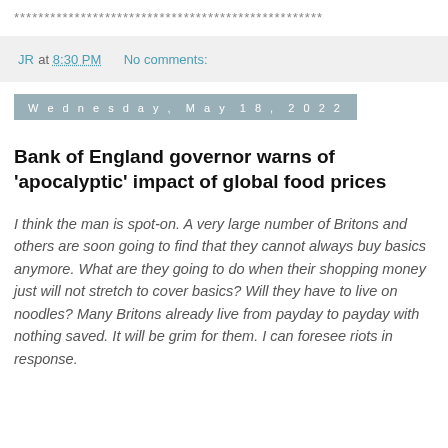***************************************************
JR at 8:30 PM    No comments:
Wednesday, May 18, 2022
Bank of England governor warns of ‘apocalyptic’ impact of global food prices
I think the man is spot-on. A very large number of Britons and others are soon going to find that they cannot always buy basics anymore. What are they going to do when their shopping money just will not stretch to cover basics? Will they have to live on noodles? Many Britons already live from payday to payday with nothing saved. It will be grim for them. I can foresee riots in response.